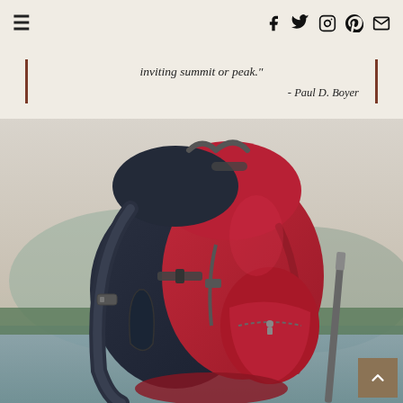Navigation header with hamburger menu and social icons (Facebook, Twitter, Instagram, Pinterest, Email)
[Figure (photo): Red and dark navy hiking backpack with straps and buckles, set against a blurred outdoor mountain/lake landscape background. A quote overlay appears at the top of the image reading: 'inviting summit or peak.' - Paul D. Boyer]
inviting summit or peak." - Paul D. Boyer